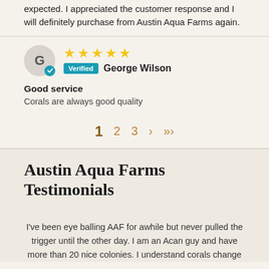expected. I appreciated the customer response and I will definitely purchase from Austin Aqua Farms again.
George Wilson — Verified — 4 stars — Good service — Corals are always good quality
Good service
Corals are always good quality
1  2  3  >  >|
Austin Aqua Farms Testimonials
I've been eye balling AAF for awhile but never pulled the trigger until the other day. I am an Acan guy and have more than 20 nice colonies. I understand corals change